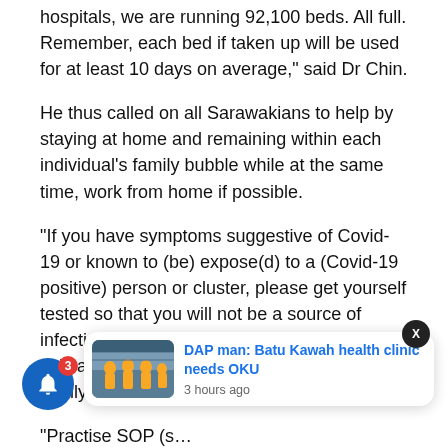hospitals, we are running 92,100 beds. All full. Remember, each bed if taken up will be used for at least 10 days on average,” said Dr Chin.
He thus called on all Sarawakians to help by staying at home and remaining within each individual’s family bubble while at the same time, work from home if possible.
“If you have symptoms suggestive of Covid-19 or known to (be) expose(d) to a (Covid-19 positive) person or cluster, please get yourself tested so that you will not be a source of infection to your beloved family, friends or colleagues. Remember, they have high risk family members at home.
“Practise SOP (s… mask at all … er will require you to take down your mask,” said Dr Chin.
[Figure (infographic): Notification popup card showing news article: 'DAP man: Batu Kawah health clinic needs OKU', 3 hours ago, with a thumbnail image of people in yellow gear. Blue notification bell with badge showing 3, and a close (X) button.]